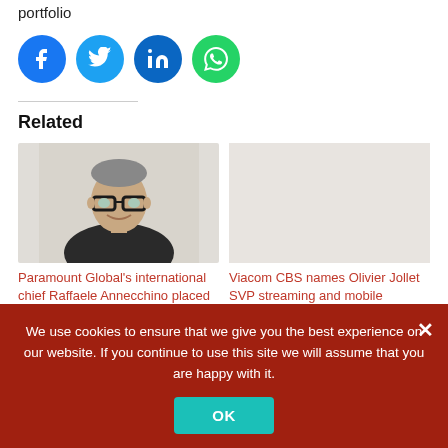portfolio
[Figure (infographic): Social media share icons: Facebook (blue circle), Twitter (light blue circle), LinkedIn (dark blue circle), WhatsApp (green circle)]
Related
[Figure (photo): Headshot photo of Raffaele Annecchino, a man with short hair and glasses wearing a suit]
Paramount Global's international chief Raffaele Annecchino placed "On leave"
In 'Editor's Choice'
Viacom CBS names Olivier Jollet SVP streaming and mobile
In 'Newsline'
We use cookies to ensure that we give you the best experience on our website. If you continue to use this site we will assume that you are happy with it.